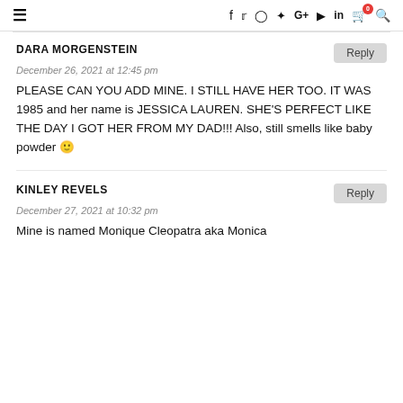≡  f  🐦  📷  𝗣  G+  ▶  in  🛒⁰  🔍
DARA MORGENSTEIN
December 26, 2021 at 12:45 pm
PLEASE CAN YOU ADD MINE. I STILL HAVE HER TOO. IT WAS 1985 and her name is JESSICA LAUREN. SHE'S PERFECT LIKE THE DAY I GOT HER FROM MY DAD!!! Also, still smells like baby powder 🙂
KINLEY REVELS
December 27, 2021 at 10:32 pm
Mine is named Monique Cleopatra aka Monica